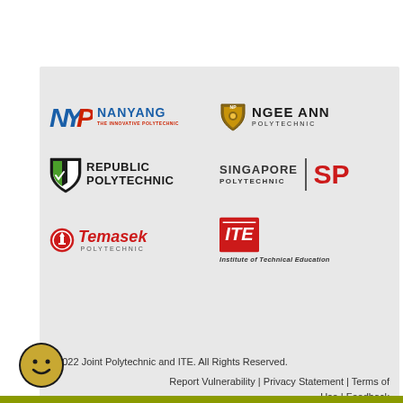[Figure (logo): Nanyang Polytechnic logo - NYP letters in blue/red italic with NANYANG THE INNOVATIVE POLYTECHNIC text]
[Figure (logo): Ngee Ann Polytechnic logo - shield emblem with NGEE ANN POLYTECHNIC text]
[Figure (logo): Republic Polytechnic logo - shield in green/black with REPUBLIC POLYTECHNIC text]
[Figure (logo): Singapore Polytechnic logo - SINGAPORE POLYTECHNIC text with SP in red]
[Figure (logo): Temasek Polytechnic logo - circle emblem with Temasek POLYTECHNIC in red italic]
[Figure (logo): ITE logo - red badge with ITE letters and Institute of Technical Education text]
©2022 Joint Polytechnic and ITE. All Rights Reserved.
Report Vulnerability | Privacy Statement | Terms of Use | Feedback